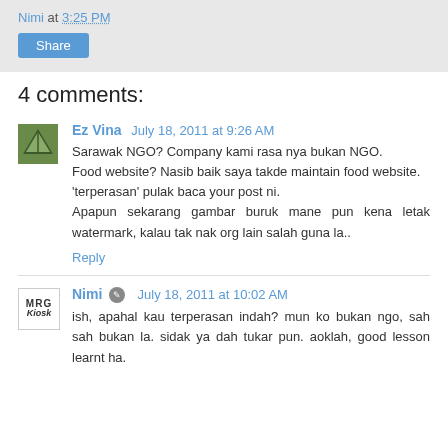Nimi at 3:25 PM
Share
4 comments:
Ez Vina July 18, 2011 at 9:26 AM
Sarawak NGO? Company kami rasa nya bukan NGO. Food website? Nasib baik saya takde maintain food website. 'terperasan' pulak baca your post ni. Apapun sekarang gambar buruk mane pun kena letak watermark, kalau tak nak org lain salah guna la..
Reply
Nimi July 18, 2011 at 10:02 AM
ish, apahal kau terperasan indah? mun ko bukan ngo, sah sah bukan la. sidak ya dah tukar pun. aoklah, good lesson learnt ha.